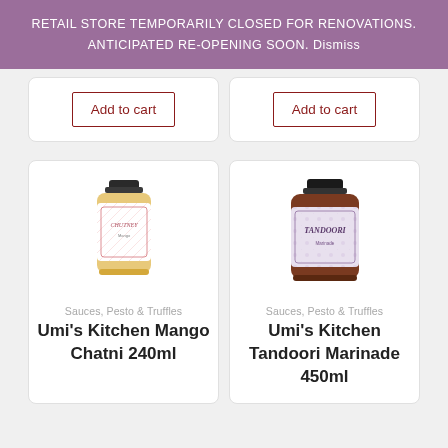RETAIL STORE TEMPORARILY CLOSED FOR RENOVATIONS. ANTICIPATED RE-OPENING SOON. Dismiss
Add to cart
Add to cart
Sauces, Pesto & Truffles
Umi's Kitchen Mango Chatni 240ml
Sauces, Pesto & Truffles
Umi's Kitchen Tandoori Marinade 450ml